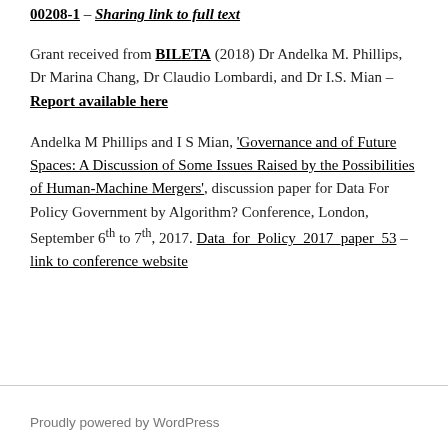00208-1 – Sharing link to full text
Grant received from BILETA (2018) Dr Andelka M. Phillips, Dr Marina Chang, Dr Claudio Lombardi, and Dr I.S. Mian – Report available here
Andelka M Phillips and I S Mian, 'Governance and of Future Spaces: A Discussion of Some Issues Raised by the Possibilities of Human-Machine Mergers', discussion paper for Data For Policy Government by Algorithm? Conference, London, September 6th to 7th, 2017. Data_for_Policy_2017_paper_53 – link to conference website
Proudly powered by WordPress